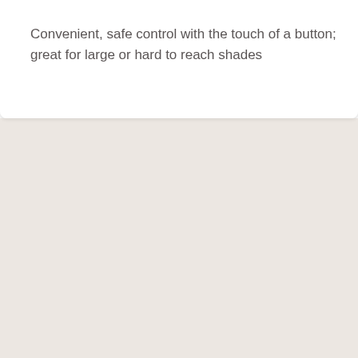Convenient, safe control with the touch of a button; great for large or hard to reach shades